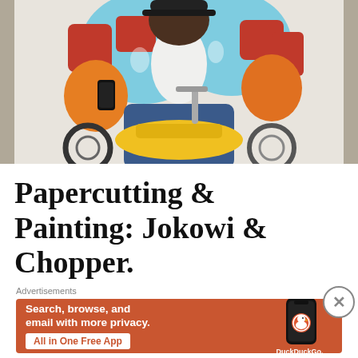[Figure (photo): Colorful painting/artwork showing a figure in a vibrant patterned jacket sitting on a yellow chopper motorcycle, with blue, red, orange, and white colors. The image is cropped showing the torso and bike.]
Papercutting & Painting: Jokowi & Chopper.
Advertisements
[Figure (screenshot): DuckDuckGo advertisement banner with orange background. Left side text: 'Search, browse, and email with more privacy.' with a white button 'All in One Free App'. Right side shows a smartphone with DuckDuckGo app logo and text 'DuckDuckGo.']